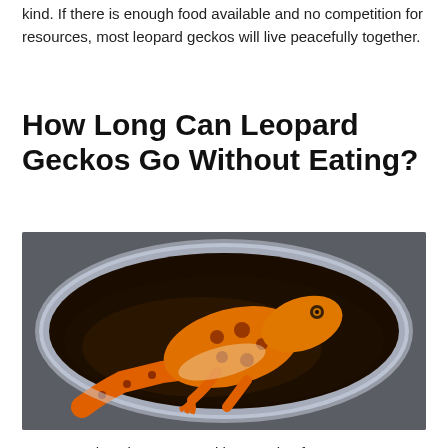kind. If there is enough food available and no competition for resources, most leopard geckos will live peacefully together.
How Long Can Leopard Geckos Go Without Eating?
[Figure (photo): An orange and yellow leopard gecko with dark spots sitting inside a clear plastic container filled with dark soil/substrate, viewed from above against a gray background.]
Leopard geckos can go without eating for up to two months, but they usually eat every two weeks. If a